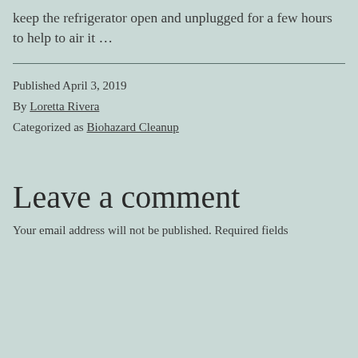keep the refrigerator open and unplugged for a few hours to help to air it …
Published April 3, 2019
By Loretta Rivera
Categorized as Biohazard Cleanup
Leave a comment
Your email address will not be published. Required fields